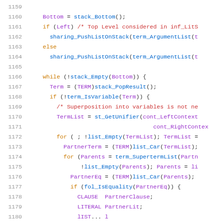[Figure (screenshot): Source code listing showing lines 1159-1180 of a C program with syntax highlighting. Line numbers in grey on the left. Keywords in orange, identifiers in purple, function calls in blue, comments in red.]